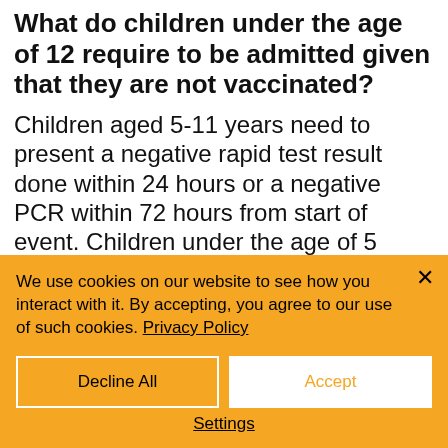What do children under the age of 12 require to be admitted given that they are not vaccinated?
Children aged 5-11 years need to present a negative rapid test result done within 24 hours or a negative PCR within 72 hours from start of event. Children under the age of 5 years need not have a test result so long as they are accompanied by a parent/guardian who is in possession of a valid COVID-19
We use cookies on our website to see how you interact with it. By accepting, you agree to our use of such cookies. Privacy Policy
Decline All
Accept
Settings